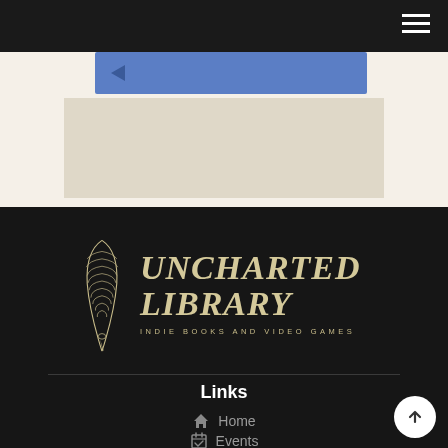Navigation bar with hamburger menu
[Figure (screenshot): Partial upper page content area showing a blue bar with a left-pointing arrow on a beige/cream background]
[Figure (logo): Uncharted Library logo — feather quill illustration with italic serif text UNCHARTED LIBRARY and subtitle INDIE BOOKS AND VIDEO GAMES on dark background]
Links
Home
Events